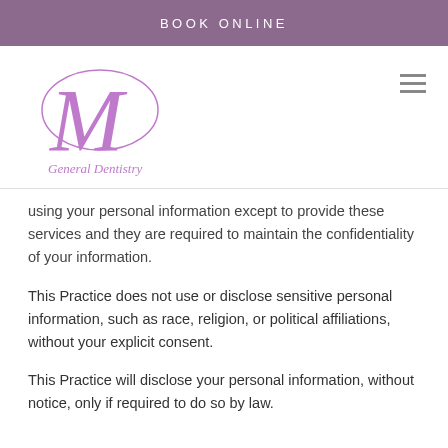BOOK ONLINE
[Figure (logo): Stylized M with oval flourish and 'General Dentistry' text below, in purple/violet color]
using your personal information except to provide these services and they are required to maintain the confidentiality of your information.
This Practice does not use or disclose sensitive personal information, such as race, religion, or political affiliations, without your explicit consent.
This Practice will disclose your personal information, without notice, only if required to do so by law.